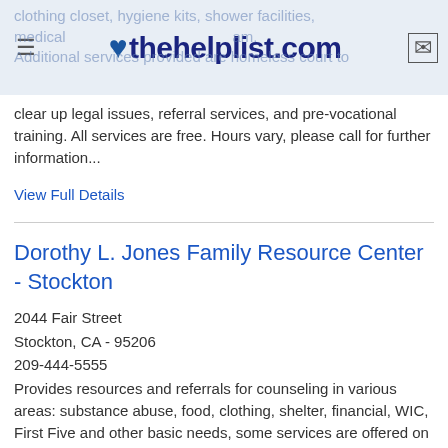♥ thehelplist.com
clothing closet, hygiene kits, shower facilities, medical, ... Additional services provided are homeless court to clear up legal issues, referral services, and pre-vocational training. All services are free. Hours vary, please call for further information...
View Full Details
Dorothy L. Jones Family Resource Center - Stockton
2044 Fair Street
Stockton, CA - 95206
209-444-5555
Provides resources and referrals for counseling in various areas: substance abuse, food, clothing, shelter, financial, WIC, First Five and other basic needs, some services are offered on site. Call for further information and to make an intake